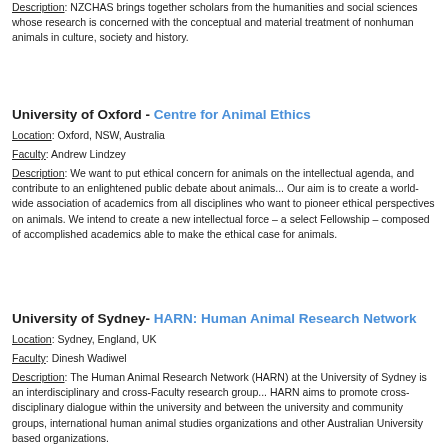Description: NZCHAS brings together scholars from the humanities and social sciences whose research is concerned with the conceptual and material treatment of nonhuman animals in culture, society and history.
University of Oxford - Centre for Animal Ethics
Location: Oxford, NSW, Australia
Faculty: Andrew Lindzey
Description: We want to put ethical concern for animals on the intellectual agenda, and contribute to an enlightened public debate about animals... Our aim is to create a world-wide association of academics from all disciplines who want to pioneer ethical perspectives on animals. We intend to create a new intellectual force – a select Fellowship – composed of accomplished academics able to make the ethical case for animals.
University of Sydney- HARN: Human Animal Research Network
Location: Sydney, England, UK
Faculty: Dinesh Wadiwel
Description: The Human Animal Research Network (HARN) at the University of Sydney is an interdisciplinary and cross-Faculty research group... HARN aims to promote cross-disciplinary dialogue within the university and between the university and community groups, international human animal studies organizations and other Australian University based organizations.